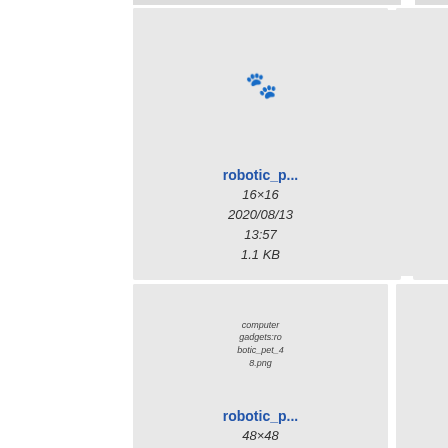[Figure (screenshot): File gallery grid showing robotic pet icon files at various sizes. Top strip shows partial cards cut off at top. Row 1: robotic_p... 16x16 2020/08/13 13:57 1.1 KB; robotic_p... 24x24 2020/08/13 13:57 1.9 KB; partial card cut off on right. Row 2: computer gadgets:robotic_pet_48.png (broken image placeholder) robotic_p... 48x48 2020/08/13 13:57 4.9 KB; robotic_p... 128x128 2020/08/13 13:57 21.1 KB (silver robot dog image); partial card cut off on right.]